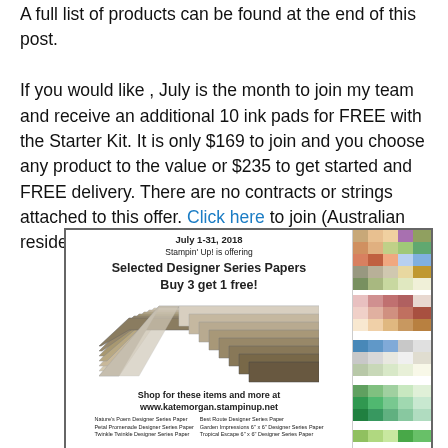A full list of products can be found at the end of this post.

If you would like , July is the month to join my team and receive an additional 10 ink pads for FREE with the Starter Kit. It is only $169 to join and you choose any product to the value or $235 to get started and FREE delivery. There are no contracts or strings attached to this offer. Click here to join (Australian residents only).
[Figure (infographic): Stampin' Up! promotional ad for July 1-31, 2018. Selected Designer Series Papers Buy 3 get 1 free! Shows stacked patterned papers chevron image. Shop at www.katemorgan.stampinup.net. Lists Nature's Poem, Petal Promenade, Twinkle Twinkle, Best Route, Garden Impressions 6x6, Tropical Escape 6x6 Designer Series Papers. Right side shows color swatches grid.]